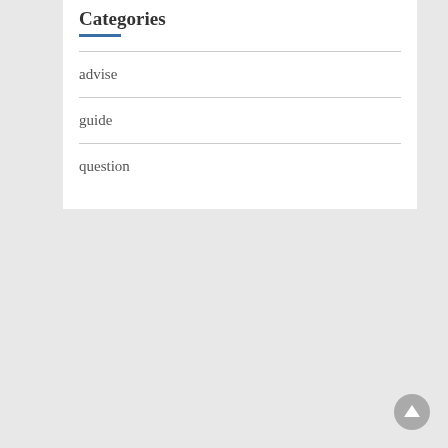Categories
advise
guide
question